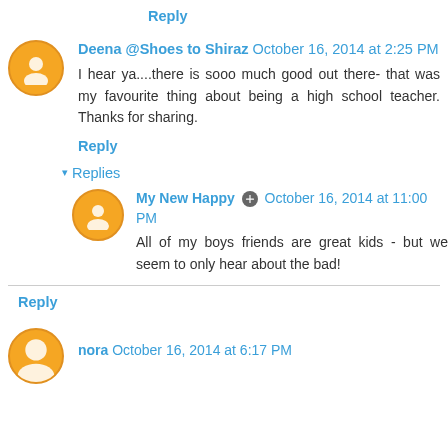Reply
Deena @Shoes to Shiraz October 16, 2014 at 2:25 PM
I hear ya....there is sooo much good out there- that was my favourite thing about being a high school teacher. Thanks for sharing.
Reply
▾ Replies
My New Happy October 16, 2014 at 11:00 PM
All of my boys friends are great kids - but we seem to only hear about the bad!
Reply
nora October 16, 2014 at 6:17 PM